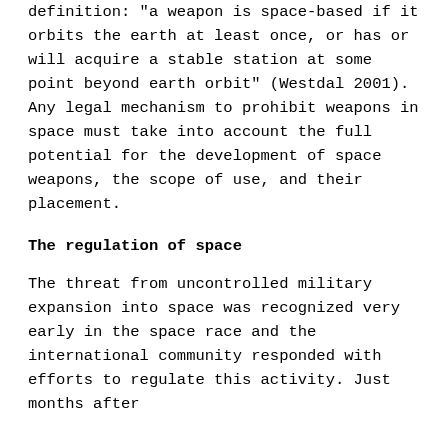definition: "a weapon is space-based if it orbits the earth at least once, or has or will acquire a stable station at some point beyond earth orbit" (Westdal 2001). Any legal mechanism to prohibit weapons in space must take into account the full potential for the development of space weapons, the scope of use, and their placement.
The regulation of space
The threat from uncontrolled military expansion into space was recognized very early in the space race and the international community responded with efforts to regulate this activity. Just months after